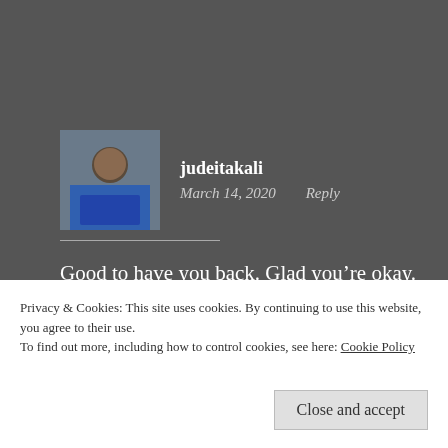[Figure (photo): Profile photo of user judeitakali, a man in a blue shirt working on a laptop]
judeitakali
March 14, 2020   Reply
Good to have you back. Glad you're okay.🙏
★ Liked by 2 people
Privacy & Cookies: This site uses cookies. By continuing to use this website, you agree to their use.
To find out more, including how to control cookies, see here: Cookie Policy
Close and accept